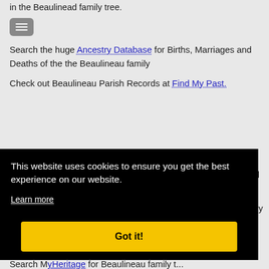in the Beaulinead family tree.
Search the huge Ancestry Database for Births, Marriages and Deaths of the the Beaulineau family
Check out Beaulineau Parish Records at Find My Past.
and
ly
This website uses cookies to ensure you get the best experience on our website. Learn more Got it!
Search MyHeritage for Beaulineau family t...